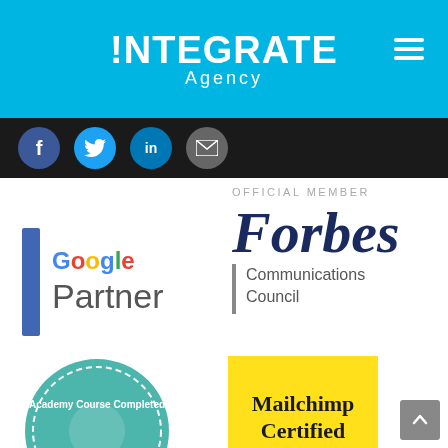!NTEGRATE Agency
[Figure (logo): Social media icons row: Facebook, Twitter, LinkedIn, Email on dark background]
[Figure (logo): Google Partner badge with blue vertical bar and Google Partner text]
OFFICIAL MEMBER
[Figure (logo): Forbes Communications Council logo with italic Forbes text and vertical divider]
[Figure (logo): Academy Course Completed circular badge in teal/mint color]
[Figure (logo): Mailchimp Certified badge on yellow background]